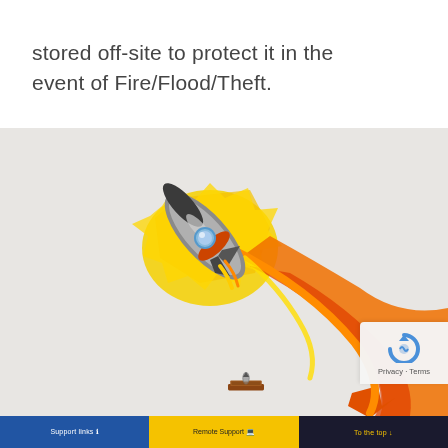stored off-site to protect it in the event of Fire/Flood/Theft.
[Figure (illustration): Cartoon rocket ship launching upward with orange and yellow flame trail curving downward, with a small logo/ship at the bottom. Background is light grey.]
Support links | Remote Support | To the top